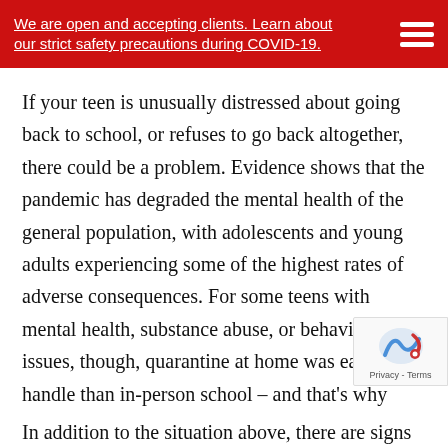We are open and accepting clients. Learn about our strict safety precautions during COVID-19.
If your teen is unusually distressed about going back to school, or refuses to go back altogether, there could be a problem. Evidence shows that the pandemic has degraded the mental health of the general population, with adolescents and young adults experiencing some of the highest rates of adverse consequences. For some teens with mental health, substance abuse, or behavioral issues, though, quarantine at home was easier to handle than in-person school – and that's why they may worry about going back.
In addition to the situation above, there are signs...